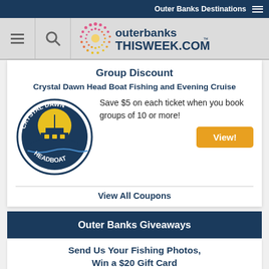Outer Banks Destinations
[Figure (logo): outerbanksthisweek.com website header with hamburger menu, search icon, and site logo]
Group Discount
Crystal Dawn Head Boat Fishing and Evening Cruise
[Figure (logo): Crystal Dawn Headboat circular logo with boat image]
Save $5 on each ticket when you book groups of 10 or more!
View!
View All Coupons
Outer Banks Giveaways
Send Us Your Fishing Photos, Win a $20 Gift Card
Oceans East Bait & Tackle Nags Head